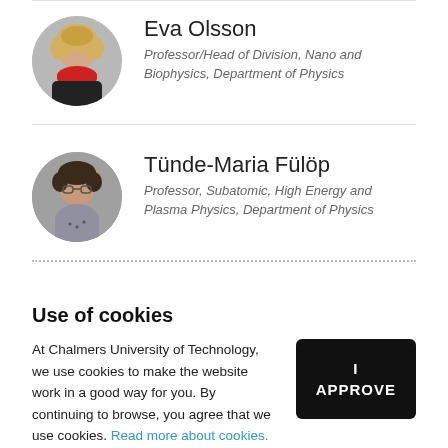[Figure (photo): Circular portrait photo of Eva Olsson, a woman with curly blonde hair wearing a red scarf]
Eva Olsson
Professor/Head of Division, Nano and Biophysics, Department of Physics
[Figure (photo): Circular portrait photo of Tünde-Maria Fülöp, a woman with short dark hair wearing a grey top with glasses]
Tünde-Maria Fülöp
Professor, Subatomic, High Energy and Plasma Physics, Department of Physics
Use of cookies
At Chalmers University of Technology, we use cookies to make the website work in a good way for you. By continuing to browse, you agree that we use cookies. Read more about cookies.